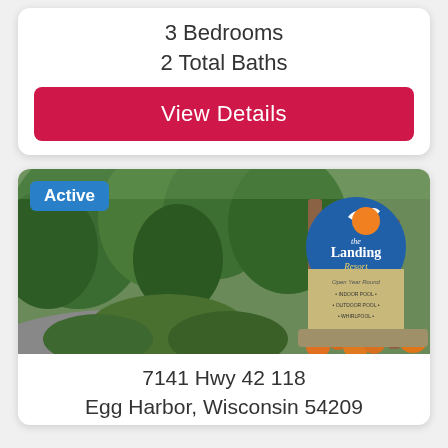3 Bedrooms
2 Total Baths
View Details
Active
[Figure (photo): Exterior photo of The Landing Resort sign with pumpkins at the base, surrounded by trees and greenery. The sign reads 'The Landing Resort, Open Year Round, Indoor Pool, Outdoor Pool, Whirlpool'.]
7141 Hwy 42 118
Egg Harbor, Wisconsin 54209